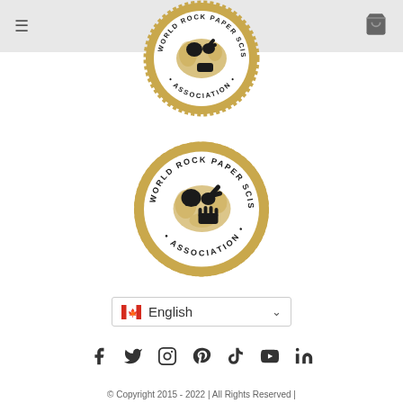World Rock Paper Scissors Association — navigation header with hamburger menu and cart icon
[Figure (logo): World Rock Paper Scissors Association circular logo (gold/black) in the header area]
[Figure (logo): World Rock Paper Scissors Association circular logo (gold/black) larger, in the main content area]
🇨🇦 English ∨
Social media icons: Facebook, Twitter, Instagram, Pinterest, TikTok, YouTube, LinkedIn
© Copyright 2015 - 2022 | All Rights Reserved |